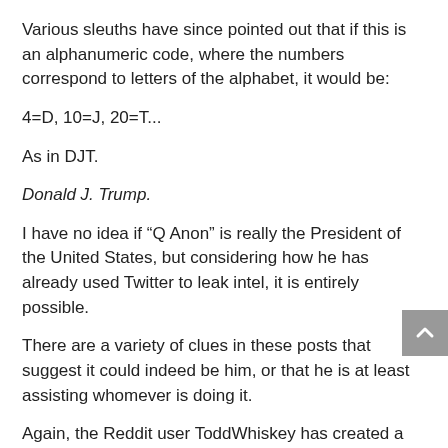Various sleuths have since pointed out that if this is an alphanumeric code, where the numbers correspond to letters of the alphabet, it would be:
4=D, 10=J, 20=T...
As in DJT.
Donald J. Trump.
I have no idea if “Q Anon” is really the President of the United States, but considering how he has already used Twitter to leak intel, it is entirely possible.
There are a variety of clues in these posts that suggest it could indeed be him, or that he is at least assisting whomever is doing it.
Again, the Reddit user ToddWhiskey has created a complete summary of ALL Q Anon posts, and continually updates it as they come out.
Click here to read them.